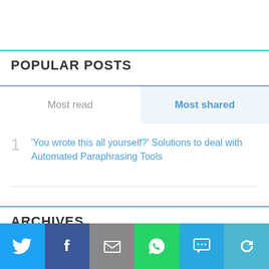POPULAR POSTS
Most read
Most shared
1 'You wrote this all yourself?' Solutions to deal with Automated Paraphrasing Tools
ARCHIVES
[Figure (other): Social share bar with buttons: Twitter, Facebook, Email, WhatsApp, SMS, Share]